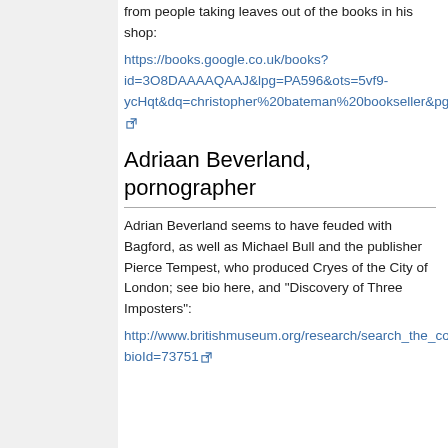from people taking leaves out of the books in his shop:
https://books.google.co.uk/books?id=3O8DAAAAQAAJ&lpg=PA596&ots=5vf9-ycHqt&dq=christopher%20bateman%20bookseller&pg=PA596#v=onepage&q&f=false
Adriaan Beverland, pornographer
Adrian Beverland seems to have feuded with Bagford, as well as Michael Bull and the publisher Pierce Tempest, who produced Cryes of the City of London; see bio here, and "Discovery of Three Imposters":
http://www.britishmuseum.org/research/search_the_collection_database/term_details.aspx?bioId=73751